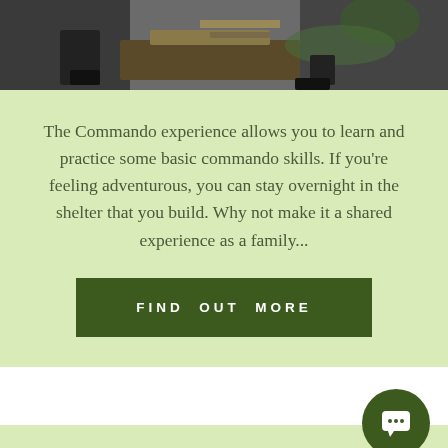[Figure (photo): Top banner photo showing people in military/commando gear working at a table with camouflage netting]
The Commando experience allows you to learn and practice some basic commando skills. If you're feeling adventurous, you can stay overnight in the shelter that you build. Why not make it a shared experience as a family...
FIND OUT MORE
Outdoor Physical Training